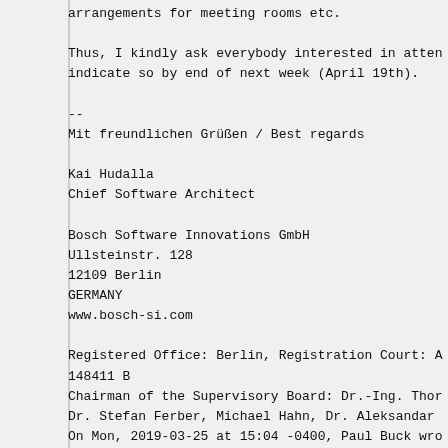arrangements for meeting rooms etc.

Thus, I kindly ask everybody interested in attending to indicate so by end of next week (April 19th).

--
Mit freundlichen Grüßen / Best regards

Kai Hudalla
Chief Software Architect

Bosch Software Innovations GmbH
Ullsteinstr. 128
12109 Berlin
GERMANY
www.bosch-si.com

Registered Office: Berlin, Registration Court: A... 148411 B
Chairman of the Supervisory Board: Dr.-Ing. Thor...
Dr. Stefan Ferber, Michael Hahn, Dr. Aleksandar ...
On Mon, 2019-03-25 at 15:04 -0400, Paul Buck wro...
>
> Frederic,
>